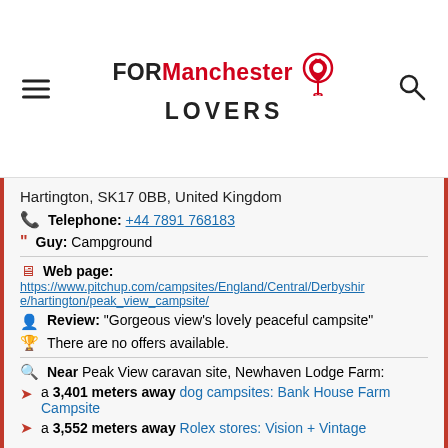FOR Manchester LOVERS
Hartington, SK17 0BB, United Kingdom
Telephone: +44 7891 768183
Guy: Campground
Web page:
https://www.pitchup.com/campsites/England/Central/Derbyshire/hartington/peak_view_campsite/
Review: "Gorgeous view's lovely peaceful campsite"
There are no offers available.
Near Peak View caravan site, Newhaven Lodge Farm:
a 3,401 meters away dog campsites: Bank House Farm Campsite
a 3,552 meters away Rolex stores: Vision + Vintage